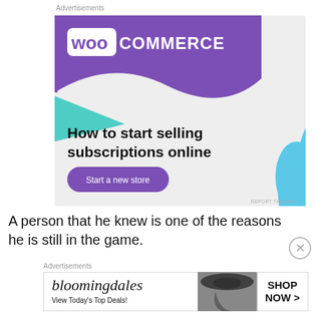Advertisements
[Figure (illustration): WooCommerce advertisement banner. Purple background with WooCommerce logo at top. Green triangle on the left, blue blob on the right. Text: 'How to start selling subscriptions online'. Button: 'Start a new store'.]
A person that he knew is one of the reasons he is still in the game.
Advertisements
[Figure (illustration): Bloomingdale's advertisement banner. Shows 'bloomingdales' in italic script, 'View Today's Top Deals!' text, a woman in a large hat, and a 'SHOP NOW >' button.]